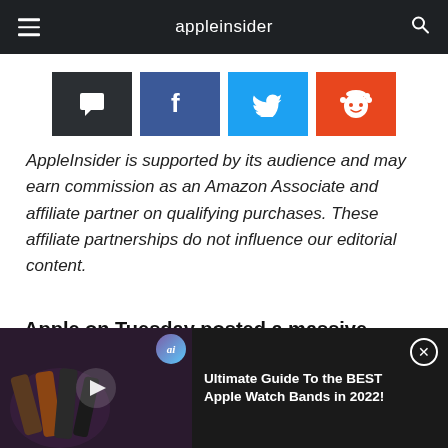appleinsider
[Figure (infographic): Social sharing buttons row: chat/comments (dark), Facebook (blue), Twitter (light blue), Reddit (orange)]
AppleInsider is supported by its audience and may earn commission as an Amazon Associate and affiliate partner on qualifying purchases. These affiliate partnerships do not influence our editorial content.
Apple on Tuesday posted a massive holiday quarter with record sales of more than 37 million iPhones, 15.43 million iPads and 5.2
[Figure (screenshot): Video promo bar at bottom: Apple Watch bands photo on left with play button and 'ai' badge, text on right reading 'Ultimate Guide To the BEST Apple Watch Bands in 2022!' with X close button]